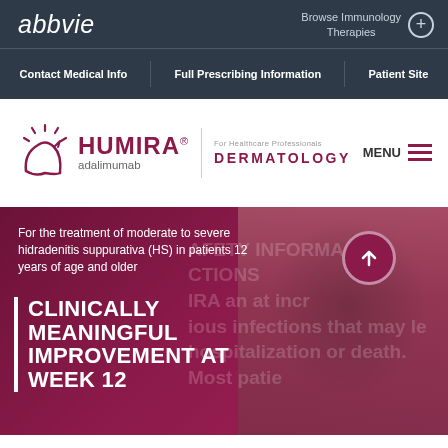abbvie
Browse Immunology Therapies
Contact Medical Info | Full Prescribing Information | Patient Site
[Figure (logo): HUMIRA adalimumab logo with decorative swoosh/sun icon, followed by 'For Healthcare Professionals DERMATOLOGY' text and MENU hamburger icon]
For the treatment of moderate to severe hidradenitis suppurativa (HS) in patients 12 years of age and older
CLINICALLY MEANINGFUL IMPROVEMENT AT WEEK 12